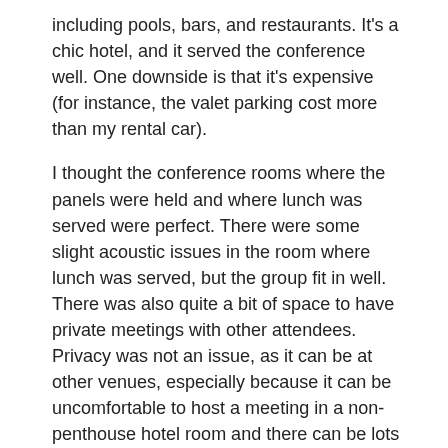including pools, bars, and restaurants. It's a chic hotel, and it served the conference well. One downside is that it's expensive (for instance, the valet parking cost more than my rental car).
I thought the conference rooms where the panels were held and where lunch was served were perfect. There were some slight acoustic issues in the room where lunch was served, but the group fit in well. There was also quite a bit of space to have private meetings with other attendees. Privacy was not an issue, as it can be at other venues, especially because it can be uncomfortable to host a meeting in a non-penthouse hotel room and there can be lots of distractions in smaller venues, making private one on one meetings more challenging.
Attendees:
Because of the Halloween holiday and perhaps due to the expense of attending the conference (and other reasons I am sure), this was one of the smaller TRAFFIC conferences I have attended. There were quite a few "regulars" who didn't attend